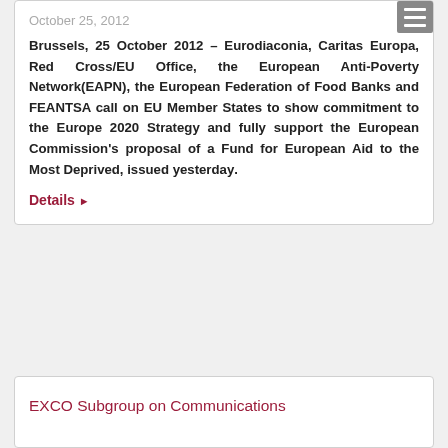October 25, 2012
Brussels, 25 October 2012 – Eurodiaconia, Caritas Europa, Red Cross/EU Office, the European Anti-Poverty Network(EAPN), the European Federation of Food Banks and FEANTSA call on EU Member States to show commitment to the Europe 2020 Strategy and fully support the European Commission's proposal of a Fund for European Aid to the Most Deprived, issued yesterday.
Details ▶
EXCO Subgroup on Communications